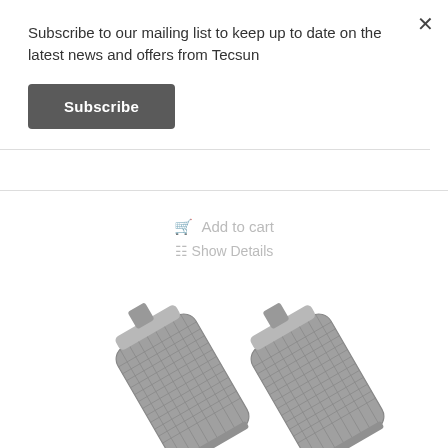Subscribe to our mailing list to keep up to date on the latest news and offers from Tecsun
Subscribe
Add to cart
Show Details
[Figure (photo): Two metal BNC/SMA style RF connector adapters side by side, silver/grey knurled cylindrical connectors with one end visible at bottom of image]